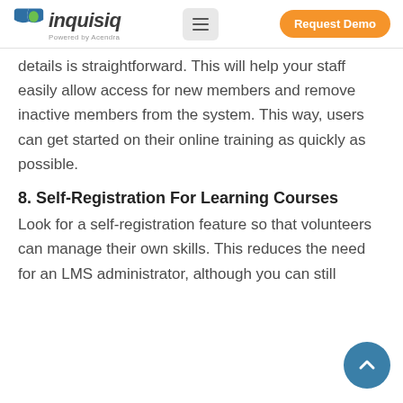inquisiq — Powered by Acendra | Request Demo
details is straightforward. This will help your staff easily allow access for new members and remove inactive members from the system. This way, users can get started on their online training as quickly as possible.
8. Self-Registration For Learning Courses
Look for a self-registration feature so that volunteers can manage their own skills. This reduces the need for an LMS administrator, although you can still